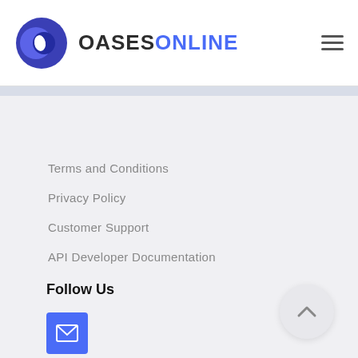OASESONLINE
Terms and Conditions
Privacy Policy
Customer Support
API Developer Documentation
Follow Us
[Figure (other): Email social media icon button (blue square with envelope icon)]
[Figure (other): Facebook social media icon button (blue square with f icon)]